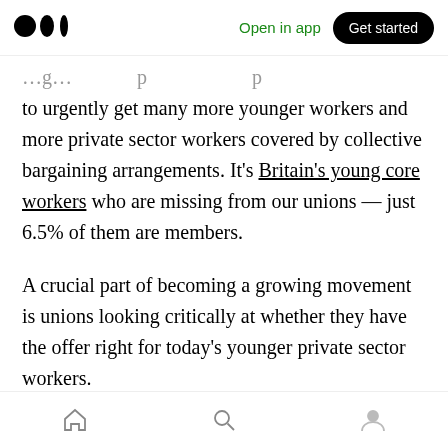Medium app bar — Open in app | Get started
to urgently get many more younger workers and more private sector workers covered by collective bargaining arrangements. It's Britain's young core workers who are missing from our unions — just 6.5% of them are members.
A crucial part of becoming a growing movement is unions looking critically at whether they have the offer right for today's younger private sector workers.
Our research with young core workers identified f...
Bottom navigation bar — Home | Search | Profile